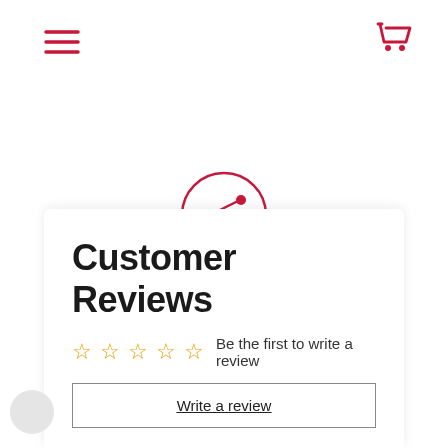[Figure (other): Hamburger menu icon (three horizontal lines) in red/crimson color, top left navigation]
[Figure (other): Shopping cart icon in red/crimson color, top right navigation]
[Figure (other): Share icon (circle with share symbol) in red/crimson, with label SHARE below]
Customer Reviews
☆☆☆☆☆ Be the first to write a review
Write a review